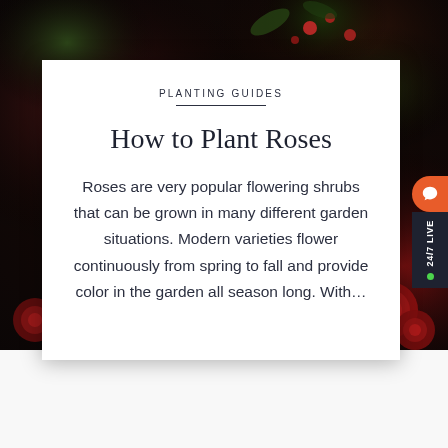[Figure (photo): Dark floral background with red roses and green leaves, moody and dark-toned photography]
PLANTING GUIDES
How to Plant Roses
Roses are very popular flowering shrubs that can be grown in many different garden situations. Modern varieties flower continuously from spring to fall and provide color in the garden all season long. With…